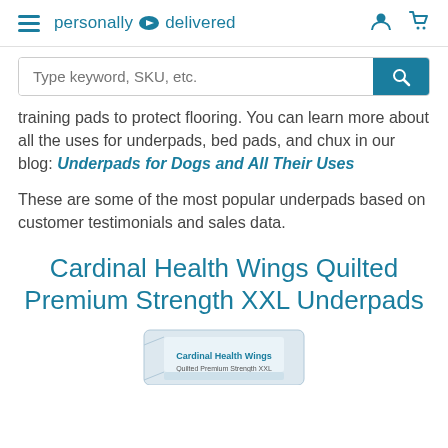personally delivered
training pads to protect flooring. You can learn more about all the uses for underpads, bed pads, and chux in our blog: Underpads for Dogs and All Their Uses
These are some of the most popular underpads based on customer testimonials and sales data.
Cardinal Health Wings Quilted Premium Strength XXL Underpads
[Figure (photo): Partial product image of Cardinal Health Wings Quilted Premium Strength XXL Underpads packaging/product at bottom of page]